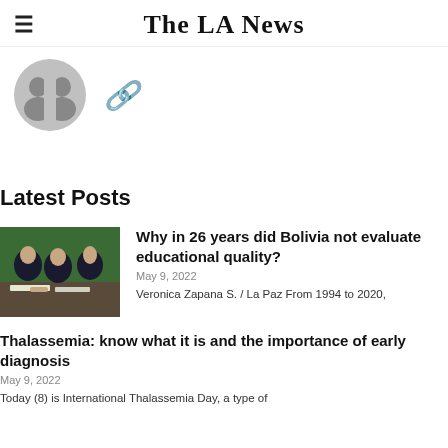The LA News
[Figure (illustration): Gray avatar/profile icon circle with two person silhouettes, and a link/chain icon to its right]
Latest Posts
[Figure (photo): Photo of students in school uniforms studying/writing at desks]
Why in 26 years did Bolivia not evaluate educational quality?
May 9, 2022
Veronica Zapana S. / La Paz From 1994 to 2020,
Thalassemia: know what it is and the importance of early diagnosis
May 9, 2022
Today (8) is International Thalassemia Day, a type of